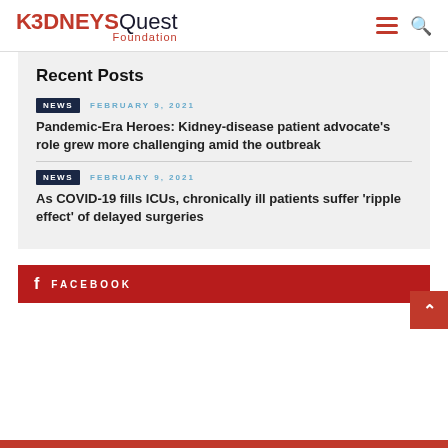K3DNEYSQuest Foundation
Recent Posts
NEWS  FEBRUARY 9, 2021
Pandemic-Era Heroes: Kidney-disease patient advocate's role grew more challenging amid the outbreak
NEWS  FEBRUARY 9, 2021
As COVID-19 fills ICUs, chronically ill patients suffer 'ripple effect' of delayed surgeries
FACEBOOK